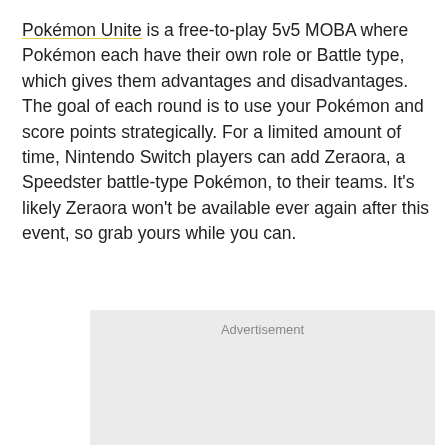Pokémon Unite is a free-to-play 5v5 MOBA where Pokémon each have their own role or Battle type, which gives them advantages and disadvantages. The goal of each round is to use your Pokémon and score points strategically. For a limited amount of time, Nintendo Switch players can add Zeraora, a Speedster battle-type Pokémon, to their teams. It's likely Zeraora won't be available ever again after this event, so grab yours while you can.
[Figure (other): Advertisement placeholder box with light gray background and 'Advertisement' label at top center]